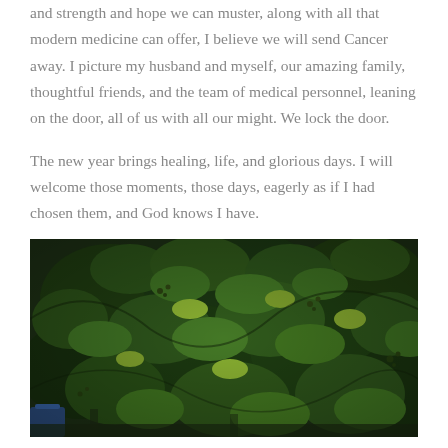and strength and hope we can muster, along with all that modern medicine can offer, I believe we will send Cancer away. I picture my husband and myself, our amazing family, thoughtful friends, and the team of medical personnel, leaning on the door, all of us with all our might. We lock the door.
The new year brings healing, life, and glorious days. I will welcome those moments, those days, eagerly as if I had chosen them, and God knows I have.
[Figure (photo): A lush green photograph of climbing vines and leaves covering a wall or fence, with dark green foliage and small berry clusters, photographed in a moody, dark tone.]